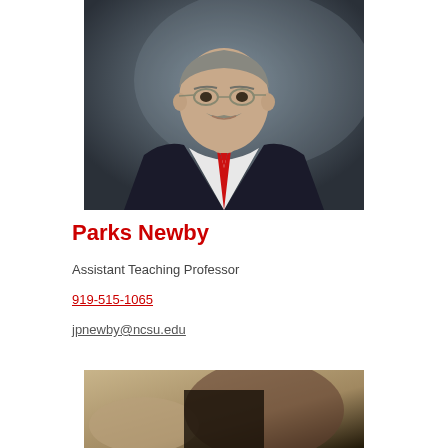[Figure (photo): Professional headshot of Parks Newby, a middle-aged man with glasses and a mustache, wearing a black suit with a red tie, dark grey background.]
Parks Newby
Assistant Teaching Professor
919-515-1065
jpnewby@ncsu.edu
[Figure (photo): Partial photo at bottom of page, appears to show a natural or rocky scene.]